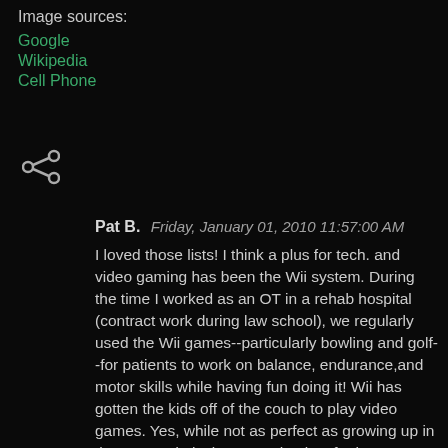Image sources:
Google
Wikipedia
Cell Phone
[Figure (other): Share icon (less-than style arrow with three dots)]
Pat B.  Friday, January 01, 2010 11:57:00 AM
I loved those lists! I think a plus for tech. and video gaming has been the Wii system. During the time I worked as an OT in a rehab hospital (contract work during law school), we regularly used the Wii games--particularly bowling and golf--for patients to work on balance, endurance,and motor skills while having fun doing it! Wii has gotten the kids off of the couch to play video games. Yes, while not as perfect as growing up in the 70's and playing street hockey for hours at a time, the Wii system is at least a step up from the sitting on the couch video games. What would we do without